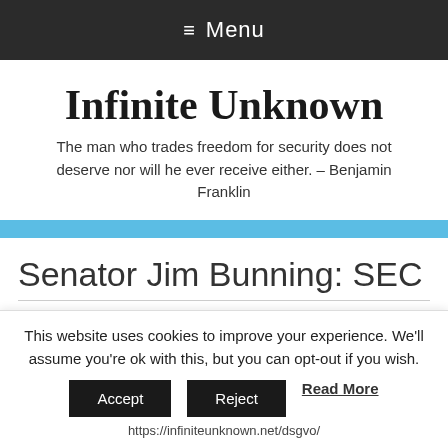≡ Menu
Infinite Unknown
The man who trades freedom for security does not deserve nor will he ever receive either. – Benjamin Franklin
Senator Jim Bunning: SEC
This website uses cookies to improve your experience. We'll assume you're ok with this, but you can opt-out if you wish. Accept Reject Read More https://infiniteunknown.net/dsgvo/